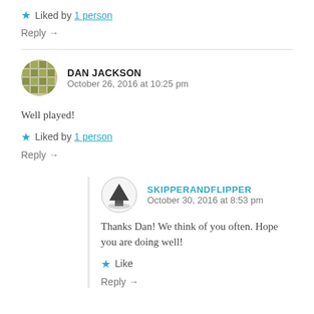★ Liked by 1 person
Reply →
DAN JACKSON
October 26, 2016 at 10:25 pm
Well played!
★ Liked by 1 person
Reply →
SKIPPERANDFLIPPER
October 30, 2016 at 8:53 pm
Thanks Dan! We think of you often. Hope you are doing well!
★ Like
Reply →